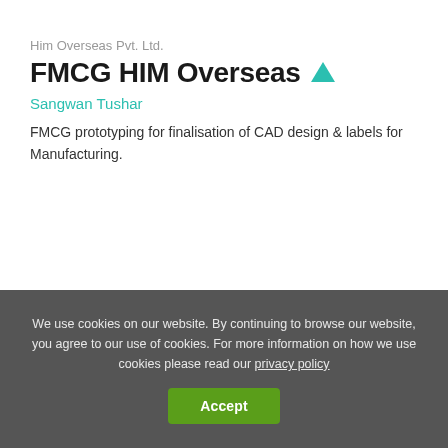Him Overseas Pvt. Ltd.
FMCG HIM Overseas ▲
Sangwan Tushar
FMCG prototyping for finalisation of CAD design & labels for Manufacturing.
We use cookies on our website. By continuing to browse our website, you agree to our use of cookies. For more information on how we use cookies please read our privacy policy
Accept